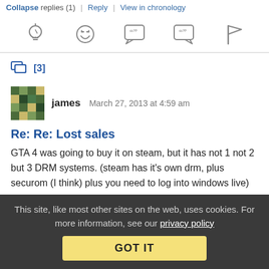Collapse replies (1) | Reply | View in chronology
[Figure (other): Row of 5 interaction icons: lightbulb (insight), laughing face (funny), speech bubble with quote marks (insightful quote), speech bubble with quote marks (reply quote), and flag (report)]
[3]
james   March 27, 2013 at 4:59 am
Re: Re: Lost sales
GTA 4 was going to buy it on steam, but it has not 1 not 2 but 3 DRM systems. (steam has it's own drm, plus securom (I think) plus you need to log into windows live)
This site, like most other sites on the web, uses cookies. For more information, see our privacy policy
GOT IT